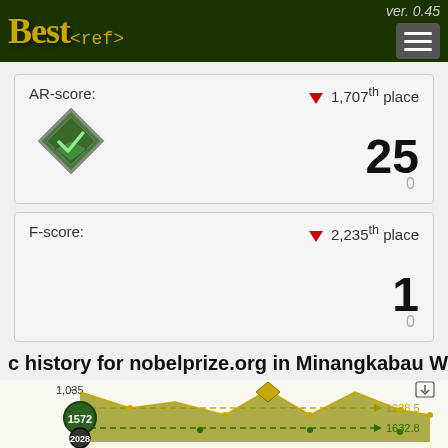Best<ref> ver. 0.45
AR-score: ▼ 1,707th place — Score: 25, 0
F-score: ▼ 2,235th place — Score: 1, 0
c history for nobelprize.org in Minangkabau Wikip
[Figure (area-chart): Area/line chart showing Wikipedia edit history. Two series with dashed reference lines. Values labeled: 1,035 on Y-axis, 1238.5 and 1632.8 on right side. Markers at 1572 (green circle) and 2028 (dark circle).]